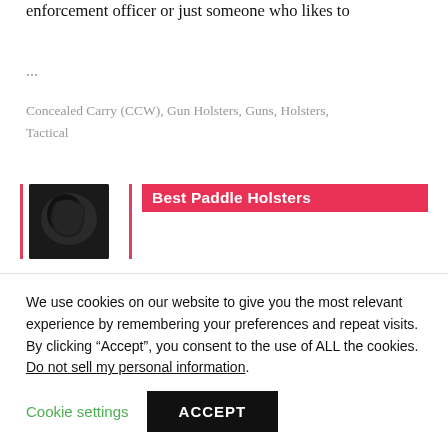enforcement officer or just someone who likes to
...
Concealed Carry (CCW), Gun Holsters, Guns, Holsters, Tactical
[Figure (photo): Small thumbnail photo of a dark holster or gun-related product]
Best Paddle Holsters
There is no doubt that a paddle holster offers some advantages over other types of holsters. They are easy to put on and take off, they're comfortable to wear for
We use cookies on our website to give you the most relevant experience by remembering your preferences and repeat visits. By clicking “Accept”, you consent to the use of ALL the cookies. Do not sell my personal information.
Cookie settings  ACCEPT